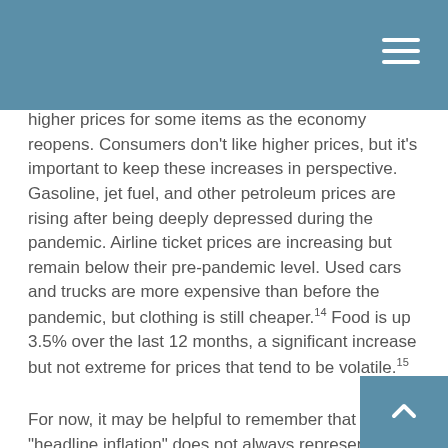higher prices for some items as the economy reopens. Consumers don't like higher prices, but it's important to keep these increases in perspective. Gasoline, jet fuel, and other petroleum prices are rising after being deeply depressed during the pandemic. Airline ticket prices are increasing but remain below their pre-pandemic level. Used cars and trucks are more expensive than before the pandemic, but clothing is still cheaper.14 Food is up 3.5% over the last 12 months, a significant increase but not extreme for prices that tend to be volatile.15
For now, it may be helpful to remember that "headline inflation" does not always represent the larger economy. And with interest rates near zero, the Federal Reserve has plenty of room to make any necessary adjustments to monetary policy.